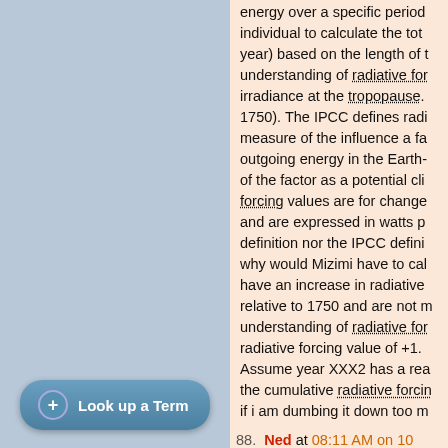energy over a specific period... individual to calculate the total year) based on the length of the understanding of radiative forcing irradiance at the tropopause (since 1750). The IPCC defines radiative forcing as a measure of the influence a factor has on outgoing energy in the Earth-atmosphere system of the factor as a potential climate change forcing values are for changes in radiative forcing and are expressed in watts per definition nor the IPCC definition... why would Mizimi have to calculate... have an increase in radiative forcing relative to 1750 and are not measuring understanding of radiative forcing... radiative forcing value of +1. Assume year XXX2 has a real... the cumulative radiative forcing if i am dumbing it down too much...
88. Ned at 08:11 AM on 10 March...
Okay, first of all I think that everyone's metabolism of Australian lives... Kind of like weighing yourself sample weight of a ladybug in you asked ... Tadh writes: What the total increase in heat or e...